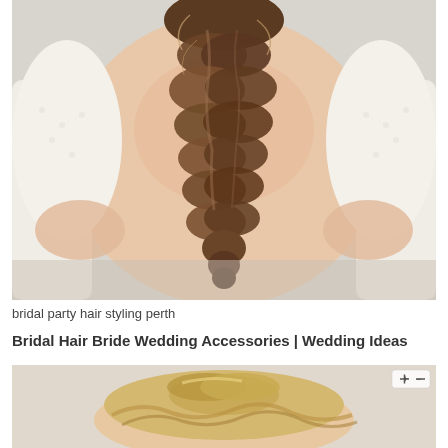[Figure (photo): Back view of a bride in a white lace open-back dress with a long, voluminous fishtail/twisted braid hairstyle cascading down her back.]
bridal party hair styling perth
Bridal Hair Bride Wedding Accessories | Wedding Ideas
[Figure (photo): Top/overhead view of a blonde bride's updo hairstyle with soft waves and a twisted top section. A '+' and '-' zoom control is visible in the top right corner.]